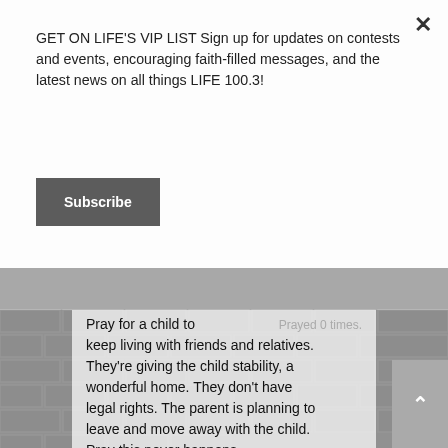GET ON LIFE'S VIP LIST Sign up for updates on contests and events, encouraging faith-filled messages, and the latest news on all things LIFE 100.3!
Subscribe
[Figure (photo): Brick wall background texture in gray]
Prayed 0 times.
Pray for a child to keep living with friends and relatives. They're giving the child stability, a wonderful home. They don't have legal rights. The parent is planning to leave and move away with the child. Pray this never happens.
Pray, they won't leave, move away. The child doesn't want to leave, move away. A few times this person was going to sign over FULL CUSTODY to a friend's relatives and changed their